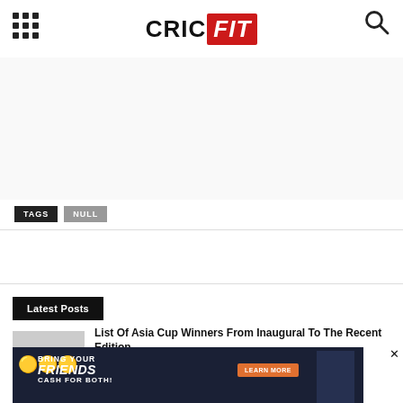CRICFIT
TAGS  NULL
Latest Posts
List Of Asia Cup Winners From Inaugural To The Recent Edition
August 22, 2022
[Figure (photo): Advertisement banner: Bring Your Friends Cash For Both - with person and coins imagery, Learn More button]